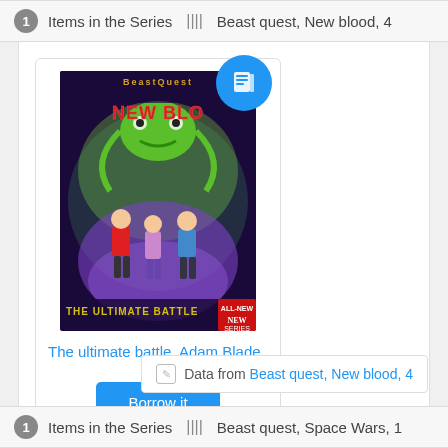1 Items in the Series ||| Beast quest, New blood, 4
[Figure (illustration): Book cover for 'The Ultimate Battle' from Beast Quest New Blood series by Adam Blade, showing children facing a monster with green energy. Blue circular badge with book/ebook icon in top right corner.]
The ultimate battle, Adam Blade
Borrow it
Data from Beast quest, New blood, 4
1 Items in the Series ||| Beast quest, Space Wars, 1